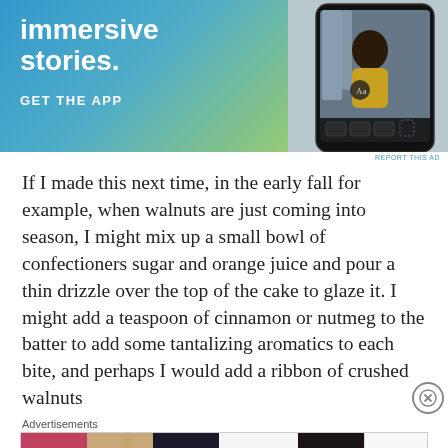[Figure (screenshot): App advertisement banner with blue-green gradient background, showing text 'immersive stories.' and 'GET THE APP', with a phone mockup showing a waterfall photo on the right side.]
If I made this next time, in the early fall for example, when walnuts are just coming into season, I might mix up a small bowl of confectioners sugar and orange juice and pour a thin drizzle over the top of the cake to glaze it. I might add a teaspoon of cinnamon or nutmeg to the batter to add some tantalizing aromatics to each bite, and perhaps I would add a ribbon of crushed walnuts
[Figure (screenshot): Ulta Beauty advertisement banner showing close-up beauty/makeup photos with lips, eyeshadow, and eyes, and 'SHOP NOW' call to action.]